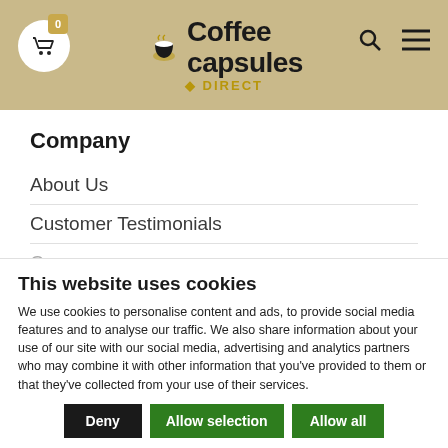[Figure (logo): Coffee Capsules Direct website header with logo, cart icon, search and menu icons on a tan/beige background]
Company
About Us
Customer Testimonials
Co...
Pr... Subscribe to our newsletter to get our
This website uses cookies
We use cookies to personalise content and ads, to provide social media features and to analyse our traffic. We also share information about your use of our site with our social media, advertising and analytics partners who may combine it with other information that you've provided to them or that they've collected from your use of their services.
Deny | Allow selection | Allow all
Necessary  Preferences  Statistics  Marketing  Show details